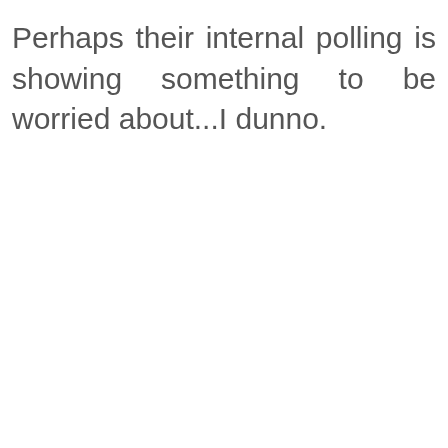Perhaps their internal polling is showing something to be worried about...I dunno.